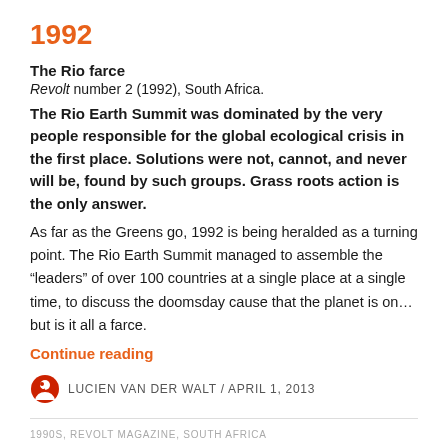1992
The Rio farce
Revolt number 2 (1992), South Africa.
The Rio Earth Summit was dominated by the very people responsible for the global ecological crisis in the first place. Solutions were not, cannot, and never will be, found by such groups. Grass roots action is the only answer.
As far as the Greens go, 1992 is being heralded as a turning point. The Rio Earth Summit managed to assemble the “leaders” of over 100 countries at a single place at a single time, to discuss the doomsday cause that the planet is on… but is it all a farce.
Continue reading
LUCIEN VAN DER WALT / APRIL 1, 2013
1990S, REVOLT MAGAZINE, SOUTH AFRICA